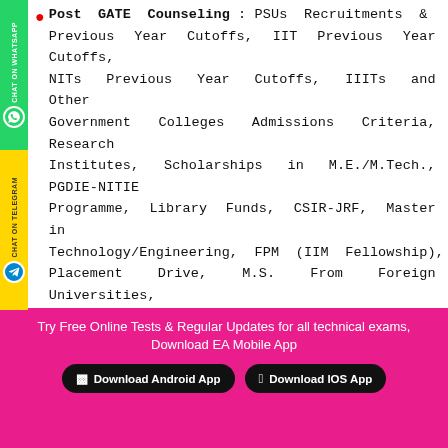Post GATE Counseling : PSUs Recruitments & Previous Year Cutoffs, IIT Previous Year Cutoffs, NITs Previous Year Cutoffs, IIITs and Other Government Colleges Admissions Criteria, Research Institutes, Scholarships in M.E./M.Tech., PGDIE-NITIE Programme, Library Funds, CSIR-JRF, Master in Technology/Engineering, FPM (IIM Fellowship), Placement Drive, M.S. From Foreign Universities, Teaching Jobs.
Standard Books: Engineers Academy Publications provides very comprehensive, focus and exam
Try Free Online Tests & Regular Updates for all technical exams, Download EA Mobile App | Download Android App | Download IOS App